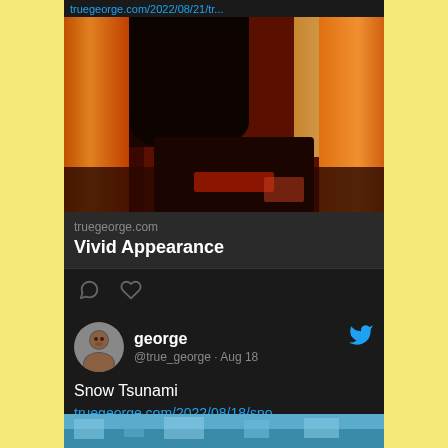truegeorge.com/2022/08/21/tr...
[Figure (photo): Interior room photo with orange/red curtains and warm lighting, showing a bed and windows with curtain drapes in deep red-orange tones]
truegeorge.com
Vivid Appearance
george
@true_george · Aug 18
Snow Tsunami
truegeorge.com/2022/08/18/sno...
[Figure (photo): Partial view of a snowy or blue-toned outdoor scene at the bottom of the page]